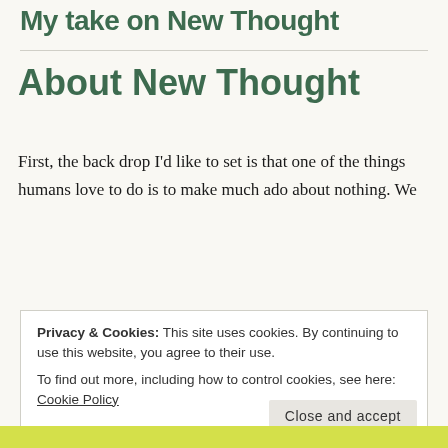My take on New Thought
About New Thought
First, the back drop I'd like to set is that one of the things humans love to do is to make much ado about nothing. We love to categorize, label, and define things, which often leads to us complicating very simple things. We also love to
Privacy & Cookies: This site uses cookies. By continuing to use this website, you agree to their use.
To find out more, including how to control cookies, see here: Cookie Policy

Close and accept